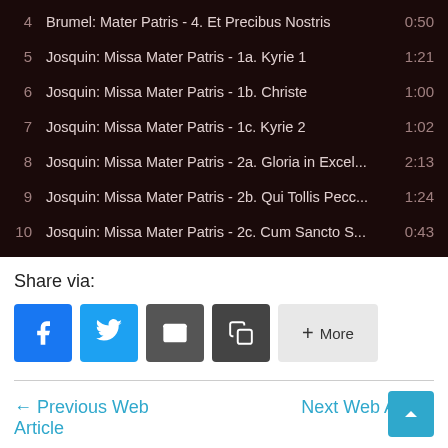| # | Title | Duration |
| --- | --- | --- |
| 4 | Brumel: Mater Patris - 4. Et Precibus Nostris | 0:50 |
| 5 | Josquin: Missa Mater Patris - 1a. Kyrie 1 | 1:21 |
| 6 | Josquin: Missa Mater Patris - 1b. Christe | 1:00 |
| 7 | Josquin: Missa Mater Patris - 1c. Kyrie 2 | 1:02 |
| 8 | Josquin: Missa Mater Patris - 2a. Gloria in Excel... | 2:13 |
| 9 | Josquin: Missa Mater Patris - 2b. Qui Tollis Pecc... | 1:24 |
| 10 | Josquin: Missa Mater Patris - 2c. Cum Sancto S... | 0:43 |
Share via:
← Previous Web Article
Next Web Article